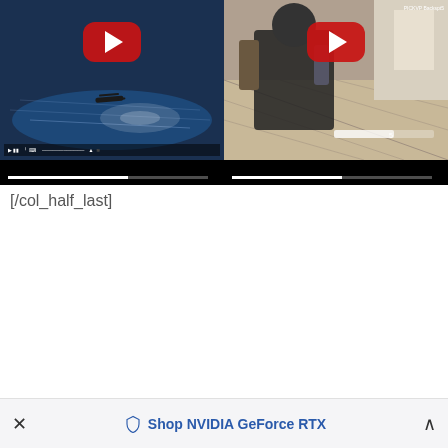[Figure (screenshot): Two YouTube video thumbnails side by side. Left shows an aerial/military plane over ocean. Right shows a first-person shooter game scene with a character in a room. Both have red YouTube play buttons. Below is a black bar.]
[/col_half_last]
[Figure (screenshot): Bottom ad bar with close button (x), NVIDIA GeForce RTX shop link with shield icon, and expand arrow.]